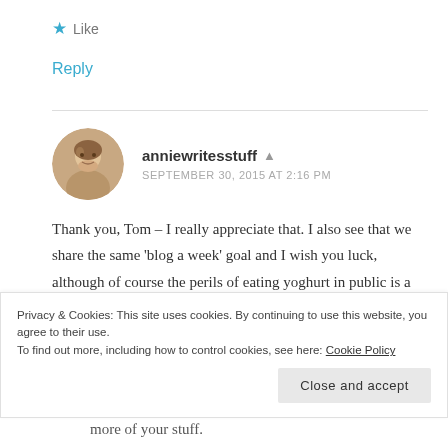★ Like
Reply
anniewritesstuff 👤
SEPTEMBER 30, 2015 AT 2:16 PM
Thank you, Tom – I really appreciate that. I also see that we share the same 'blog a week' goal and I wish you luck, although of course the perils of eating yoghurt in public is a subject that
Privacy & Cookies: This site uses cookies. By continuing to use this website, you agree to their use.
To find out more, including how to control cookies, see here: Cookie Policy
Close and accept
more of your stuff.